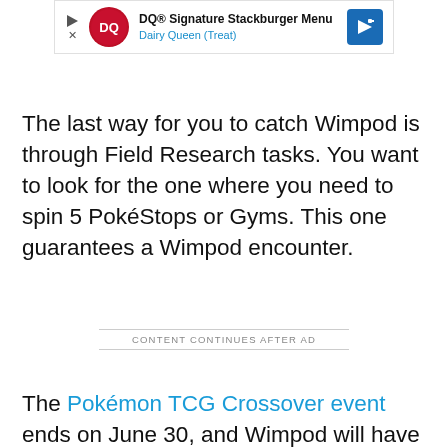[Figure (screenshot): Dairy Queen advertisement banner: DQ Signature Stackburger Menu, Dairy Queen (Treat), with DQ logo, play/close icons, and navigation arrow]
The last way for you to catch Wimpod is through Field Research tasks. You want to look for the one where you need to spin 5 PokéStops or Gyms. This one guarantees a Wimpod encounter.
The Pokémon TCG Crossover event ends on June 30, and Wimpod will have a good chance to appear during this event. We recommend pursuing it before the end of June to ensure you can add this Pokémon and Golisopod to your collection.
CONTENT CONTINUES AFTER AD